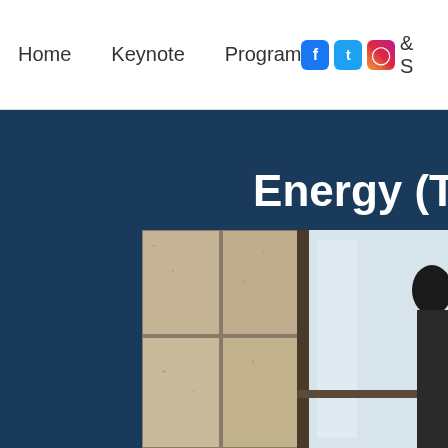Home   Keynote   Program   & S
Energy (T
[Figure (photo): Partial cropped photograph showing a person standing in front of a stone/brick wall and glass panel, with dark hair visible at right edge. Set on a dark navy blue background.]